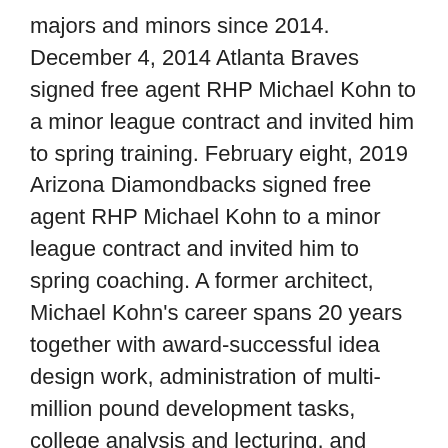majors and minors since 2014. December 4, 2014 Atlanta Braves signed free agent RHP Michael Kohn to a minor league contract and invited him to spring training. February eight, 2019 Arizona Diamondbacks signed free agent RHP Michael Kohn to a minor league contract and invited him to spring coaching. A former architect, Michael Kohn's career spans 20 years together with award-successful idea design work, administration of multi-million pound development tasks, college analysis and lecturing, and collaborative know-how. He also provides examine design consultations to scientific investigators by way of the CTSI Consulting Service and created the UCSF CTSI's on-line sample measurement calculators (-measurement.net).
[Figure (photo): Image placeholder for michael kohn photo with alt text 'michael kohn']